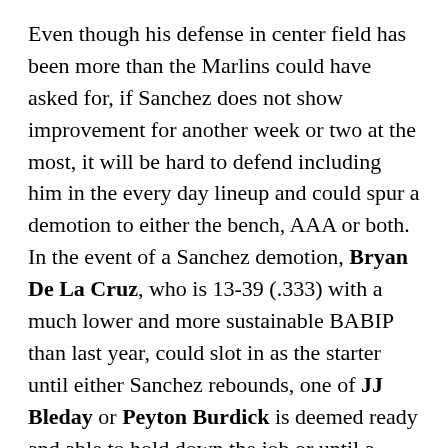Even though his defense in center field has been more than the Marlins could have asked for, if Sanchez does not show improvement for another week or two at the most, it will be hard to defend including him in the every day lineup and could spur a demotion to either the bench, AAA or both. In the event of a Sanchez demotion, Bryan De La Cruz, who is 13-39 (.333) with a much lower and more sustainable BABIP than last year, could slot in as the starter until either Sanchez rebounds, one of JJ Bleday or Peyton Burdick is deemed ready and able to hold down the job or until a move to someone outside of the organization is made.
Major League Baseball has adjusted to Jesus Sanchez and now it is his turn to adjust back. Hope is that Sanchez can get that done at the big league level and